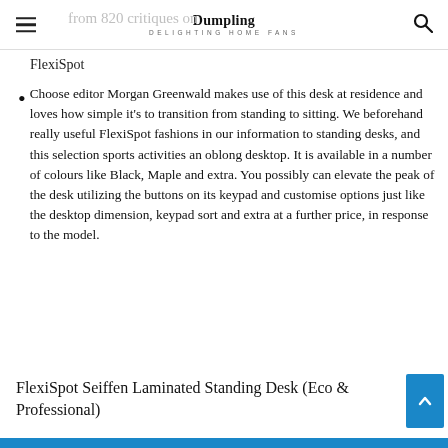Dumpling DELIGHTING HOME FANS
FlexiSpot
Choose editor Morgan Greenwald makes use of this desk at residence and loves how simple it's to transition from standing to sitting. We beforehand really useful FlexiSpot fashions in our information to standing desks, and this selection sports activities an oblong desktop. It is available in a number of colours like Black, Maple and extra. You possibly can elevate the peak of the desk utilizing the buttons on its keypad and customise options just like the desktop dimension, keypad sort and extra at a further price, in response to the model.
FlexiSpot Seiffen Laminated Standing Desk (Eco & Professional)